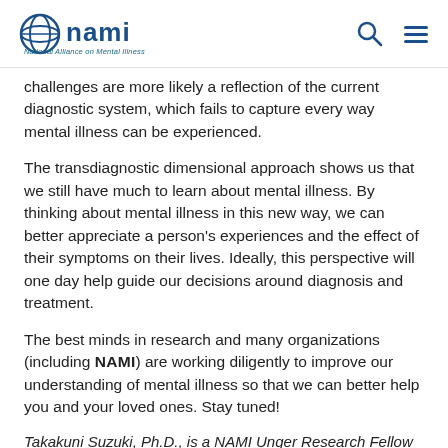NAMI – National Alliance on Mental Illness
challenges are more likely a reflection of the current diagnostic system, which fails to capture every way mental illness can be experienced.
The transdiagnostic dimensional approach shows us that we still have much to learn about mental illness. By thinking about mental illness in this new way, we can better appreciate a person's experiences and the effect of their symptoms on their lives. Ideally, this perspective will one day help guide our decisions around diagnosis and treatment.
The best minds in research and many organizations (including NAMI) are working diligently to improve our understanding of mental illness so that we can better help you and your loved ones. Stay tuned!
Takakuni Suzuki, Ph.D., is a NAMI Unger Research Fellow